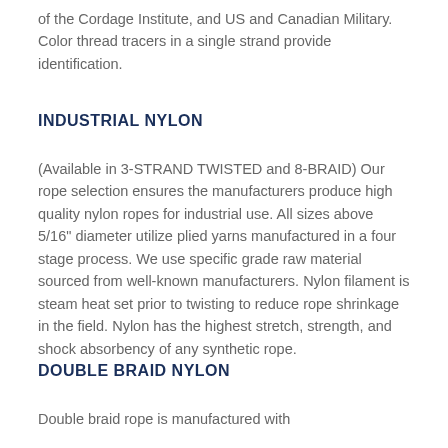of the Cordage Institute, and US and Canadian Military. Color thread tracers in a single strand provide identification.
INDUSTRIAL NYLON
(Available in 3-STRAND TWISTED and 8-BRAID) Our rope selection ensures the manufacturers produce high quality nylon ropes for industrial use. All sizes above 5/16" diameter utilize plied yarns manufactured in a four stage process. We use specific grade raw material sourced from well-known manufacturers. Nylon filament is steam heat set prior to twisting to reduce rope shrinkage in the field. Nylon has the highest stretch, strength, and shock absorbency of any synthetic rope.
DOUBLE BRAID NYLON
Double braid rope is manufactured with